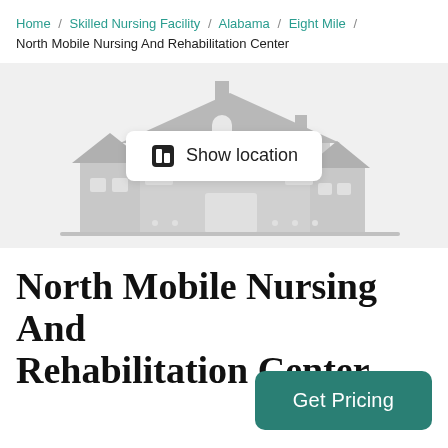Home / Skilled Nursing Facility / Alabama / Eight Mile / North Mobile Nursing And Rehabilitation Center
[Figure (illustration): Illustration of a nursing/rehabilitation facility building in light gray tones with a 'Show location' button overlay in the center]
North Mobile Nursing And Rehabilitation Center
Get Pricing